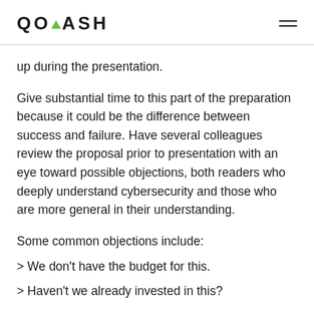QOHASH
up during the presentation.
Give substantial time to this part of the preparation because it could be the difference between success and failure. Have several colleagues review the proposal prior to presentation with an eye toward possible objections, both readers who deeply understand cybersecurity and those who are more general in their understanding.
Some common objections include:
> We don't have the budget for this.
> Haven't we already invested in this?